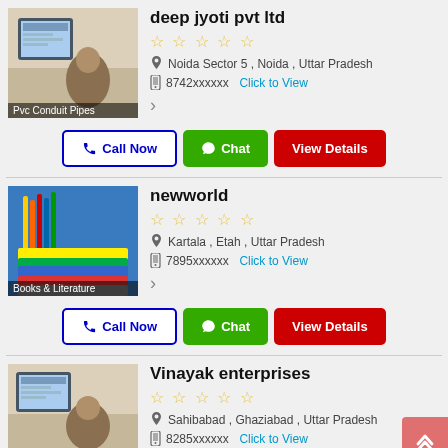deep jyoti pvt ltd
★★★★★ (empty stars)
📍 Noida Sector 5 , Noida , Uttar Pradesh
📱 8742xxxxxx  Click to View
>
Call Now  Chat  View Details
newworld
★★★★★ (empty stars)
📍 Kartala , Etah , Uttar Pradesh
📱 7895xxxxxx  Click to View
>
Call Now  Chat  View Details
Vinayak enterprises
★★★★★ (empty stars)
📍 Sahibabad , Ghaziabad , Uttar Pradesh
📱 8285xxxxxx  Click to View